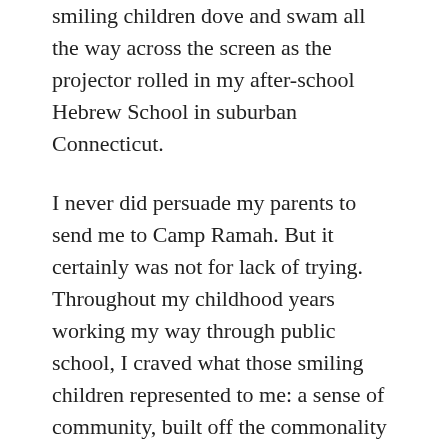smiling children dove and swam all the way across the screen as the projector rolled in my after-school Hebrew School in suburban Connecticut.
I never did persuade my parents to send me to Camp Ramah. But it certainly was not for lack of trying. Throughout my childhood years working my way through public school, I craved what those smiling children represented to me: a sense of community, built off the commonality of a shared Jewish identity; a place with people like me.
I first found this Jewish community for myself in perhaps the most unlikely of places – Princeton University, to be exact. I found religion too, and my husband. But when anyone would ask on a deeper,